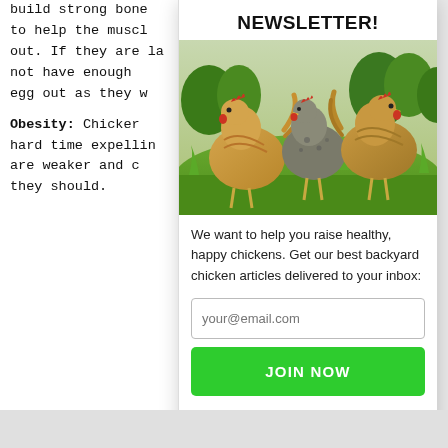build strong bone to help the muscl out. If they are la not have enough egg out as they w
Obesity: Chicken hard time expellin are weaker and c they should.
NEWSLETTER!
[Figure (photo): Photo of three chickens (hens) standing in green grass with trees in background]
We want to help you raise healthy, happy chickens. Get our best backyard chicken articles delivered to your inbox:
your@email.com
JOIN NOW